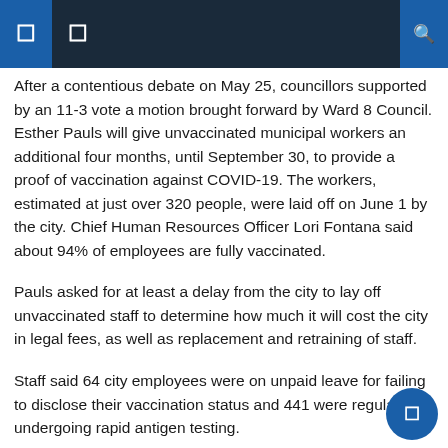After a contentious debate on May 25, councillors supported by an 11-3 vote a motion brought forward by Ward 8 Council. Esther Pauls will give unvaccinated municipal workers an additional four months, until September 30, to provide a proof of vaccination against COVID-19. The workers, estimated at just over 320 people, were laid off on June 1 by the city. Chief Human Resources Officer Lori Fontana said about 94% of employees are fully vaccinated.
Pauls asked for at least a delay from the city to lay off unvaccinated staff to determine how much it will cost the city in legal fees, as well as replacement and retraining of staff.
Staff said 64 city employees were on unpaid leave for failing to disclose their vaccination status and 441 were regularly undergoing rapid antigen testing.